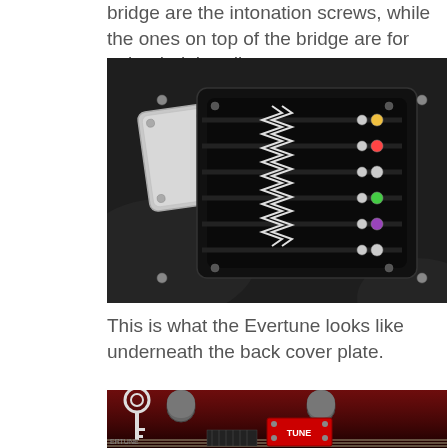bridge are the intonation screws, while the ones on top of the bridge are for string-height adjustment.
[Figure (photo): Close-up photo of the Evertune bridge system showing string saddles with colored tension indicators on a black guitar body, viewed from above with back cover plate removed.]
This is what the Evertune looks like underneath the back cover plate.
[Figure (photo): Partial photo showing the Evertune bridge system with tuning mechanisms on a red guitar body, with metal key-like tool visible.]